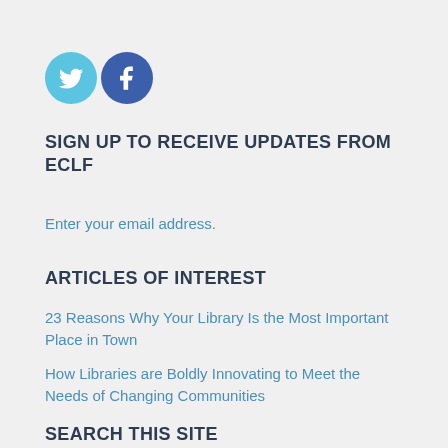[Figure (logo): Twitter and Facebook social media icon circles — light blue Twitter bird icon and dark blue Facebook 'f' icon]
SIGN UP TO RECEIVE UPDATES FROM ECLF
Enter your email address.
ARTICLES OF INTEREST
23 Reasons Why Your Library Is the Most Important Place in Town
How Libraries are Boldly Innovating to Meet the Needs of Changing Communities
SEARCH THIS SITE